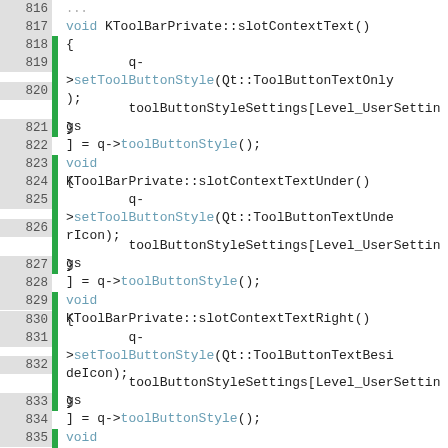[Figure (screenshot): Source code viewer showing C++ code for KToolBarPrivate slot methods (slotContextText, slotContextTextUnder, slotContextTextRight, slotContextIconSize) with line numbers 816-835 and green change markers in gutter]